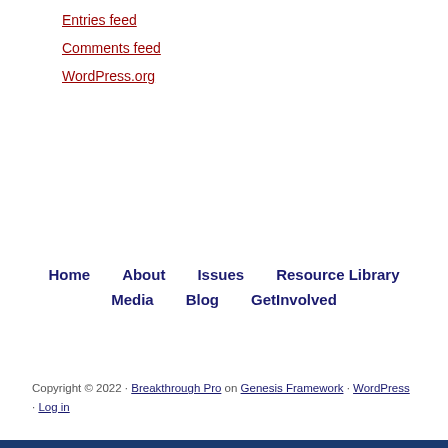Entries feed
Comments feed
WordPress.org
Home   About   Issues   Resource Library   Media   Blog   GetInvolved
Copyright © 2022 · Breakthrough Pro on Genesis Framework · WordPress · Log in